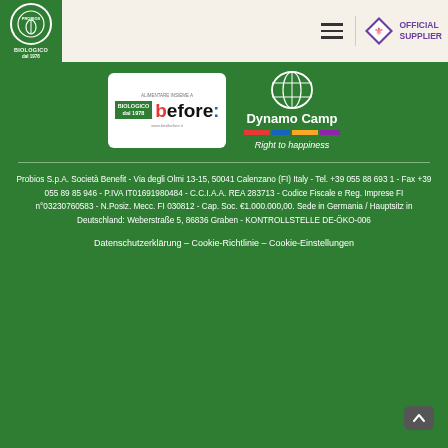[Figure (logo): Probios Biologico dal 1978 green logo in header]
[Figure (logo): Fiorentina Official Supplier logo in top right header]
[Figure (logo): BestBefore.it partner logo in white box on green background]
[Figure (logo): Dynamo Camp logo with globe, colored bars, and Right to happiness tagline on green background]
Probios S.p.A. Società Benefit - Via degli Olmi 13-15, 50041 Calenzano (FI) Italy - Tel. +39 055 88 693 1 - Fax +39 055 89 85 946 - P.IVA IT01691980484 - C.C.I.A.A. REA 283713 - Codice Fiscale e Reg. Imprese FI n°03230760583 - N.Posiz. Mecc. FI 030812 - Cap. Soc. €1.000.000,00. Sede in Germania / Hauptsitz in Deutschland: Weberstraße 5, 86836 Graben - KONTROLLSTELLE DE-ÖKO-006
Datenschutzerklärung - Cookie-Richtlinie - Cookie-Einstellungen